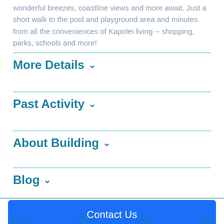wonderful breezes, coastline views and more await. Just a short walk to the pool and playground area and minutes from all the conveniences of Kapolei living -- shopping, parks, schools and more!
More Details ∨
Past Activity ∨
About Building ∨
Blog ∨
Contact Us
Sitemap   Library   FAQ   Terms